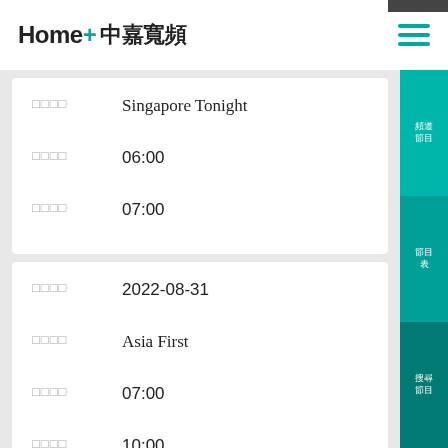Home+ 中嘉寬頻
| Field | Value |
| --- | --- |
| □□□□ | Singapore Tonight |
| □□□□ | 06:00 |
| □□□□ | 07:00 |
| Field | Value |
| --- | --- |
| □□□□ | 2022-08-31 |
| □□□□ | Asia First |
| □□□□ | 07:00 |
| □□□□ | 10:00 |